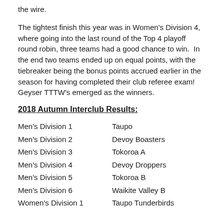the wire.
The tightest finish this year was in Women's Division 4, where going into the last round of the Top 4 playoff round robin, three teams had a good chance to win.  In the end two teams ended up on equal points, with the tiebreaker being the bonus points accrued earlier in the season for having completed their club referee exam! Geyser TTTW's emerged as the winners.
2018 Autumn Interclub Results:
Men's Division 1   Taupo
Men's Division 2   Devoy Boasters
Men's Division 3   Tokoroa A
Men's Division 4   Devoy Droppers
Men's Division 5   Tokoroa B
Men's Division 6   Waikite Valley B
Women's Division 1   Taupo Tunderbirds